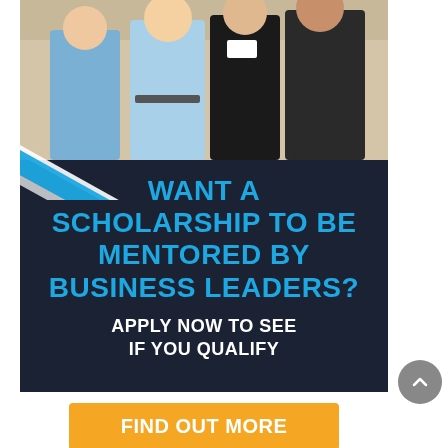[Figure (photo): Group of professionals/people at a business event, smiling and posing together, photo at top of advertisement]
WANT A SCHOLARSHIP TO BE MENTORED BY BUSINESS LEADERS?
APPLY NOW TO SEE IF YOU QUALIFY
FIND OUT MORE